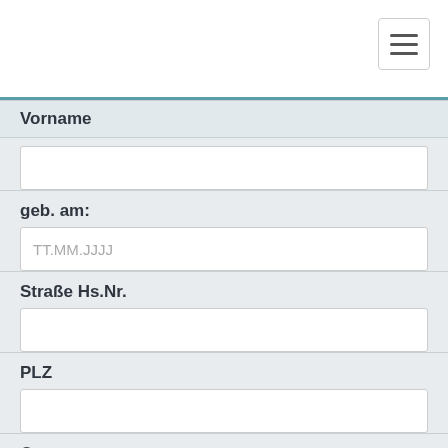[Figure (screenshot): Hamburger/navigation menu button in top right corner, three horizontal lines icon]
Vorname
geb. am:
TT.MM.JJJJ
Straße Hs.Nr.
PLZ
Ort
Land
Bitte auswählen
Telefon